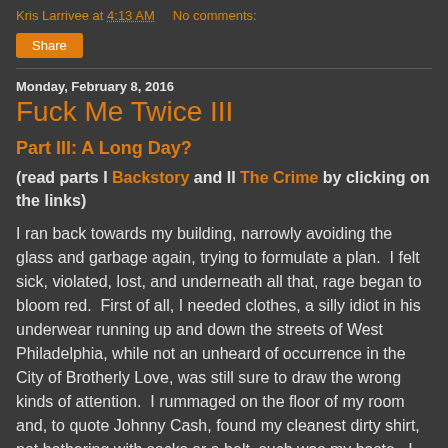Kris Larrivee at 4:13 AM   No comments:
Share
Monday, February 8, 2016
Fuck Me Twice III
Part III: A Long Day?
(read parts I Backstory and II The Crime by clicking on the links)
I ran back towards my building, narrowly avoiding the glass and garbage again, trying to formulate a plan.  I felt sick, violated, lost, and underneath all that, rage began to bloom red.  First of all, I needed clothes, a silly idiot in his underwear running up and down the streets of West Philadelphia, while not an unheard of occurrence in the City of Brotherly Love, was still sure to draw the wrong kinds of attention.  I rummaged on the floor of my room and, to quote Johnny Cash, found my cleanest dirty shirt, not bothering with socks or a belt, such was my haste.  I stumbled down